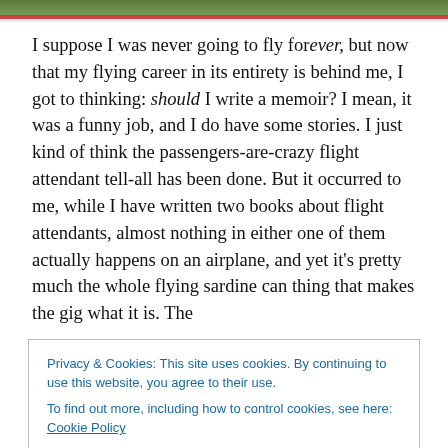[Figure (photo): Partial photo of a person wearing a red and white striped shirt, cropped at top of page]
I suppose I was never going to fly forever, but now that my flying career in its entirety is behind me, I got to thinking: should I write a memoir? I mean, it was a funny job, and I do have some stories. I just kind of think the passengers-are-crazy flight attendant tell-all has been done. But it occurred to me, while I have written two books about flight attendants, almost nothing in either one of them actually happens on an airplane, and yet it’s pretty much the whole flying sardine can thing that makes the gig what it is. The
Privacy & Cookies: This site uses cookies. By continuing to use this website, you agree to their use.
To find out more, including how to control cookies, see here: Cookie Policy
I figured funnier, fictionalized versions of some of my